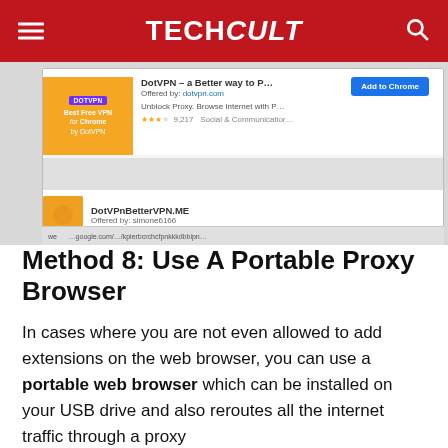TECH Cult
[Figure (screenshot): Screenshot of Chrome Web Store showing DotVPN extension listing with orange icon, 'Add to Chrome' button, and a second result 'DotVPnBetterVPN.ME']
Method 8: Use A Portable Proxy Browser
In cases where you are not even allowed to add extensions on the web browser, you can use a portable web browser which can be installed on your USB drive and also reroutes all the internet traffic through a proxy address. Portable browsers are all the more